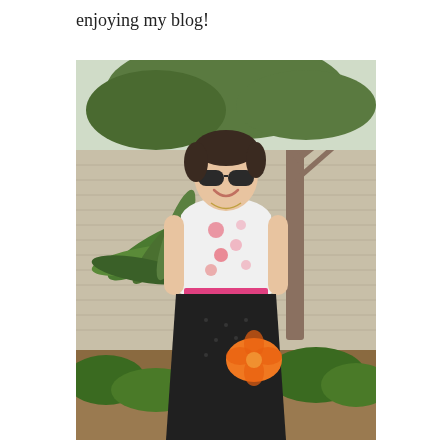enjoying my blog!
[Figure (photo): A smiling woman wearing sunglasses, a floral sleeveless top, black skirt with pink belt, holding an orange flower-shaped clutch purse, standing outdoors in front of a textured concrete wall with palm trees and green bushes in the background.]